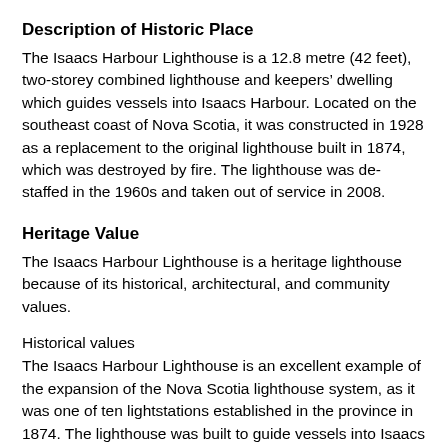Description of Historic Place
The Isaacs Harbour Lighthouse is a 12.8 metre (42 feet), two-storey combined lighthouse and keepers’ dwelling which guides vessels into Isaacs Harbour. Located on the southeast coast of Nova Scotia, it was constructed in 1928 as a replacement to the original lighthouse built in 1874, which was destroyed by fire. The lighthouse was de-staffed in the 1960s and taken out of service in 2008.
Heritage Value
The Isaacs Harbour Lighthouse is a heritage lighthouse because of its historical, architectural, and community values.
Historical values
The Isaacs Harbour Lighthouse is an excellent example of the expansion of the Nova Scotia lighthouse system, as it was one of ten lightstations established in the province in 1874. The lighthouse was built to guide vessels into Isaacs Harbour and to safeguard shipping for the growing